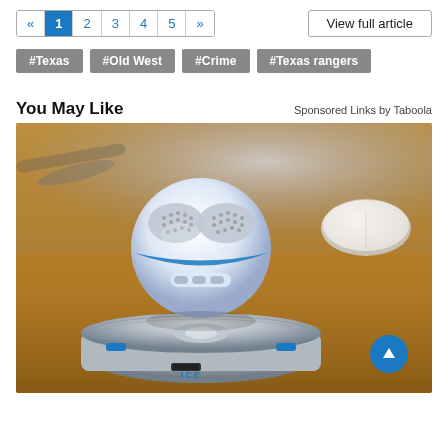« 1 2 3 4 5 »  View full article
#Texas  #Old West  #Crime  #Texas rangers
You May Like
Sponsored Links by Taboola
[Figure (photo): Levitating spherical Bluetooth speaker floating above a round magnetic base on a wooden desk, with an Apple Magic Mouse visible in the background. The speaker is white and blue. The base unit has ICE branding.]